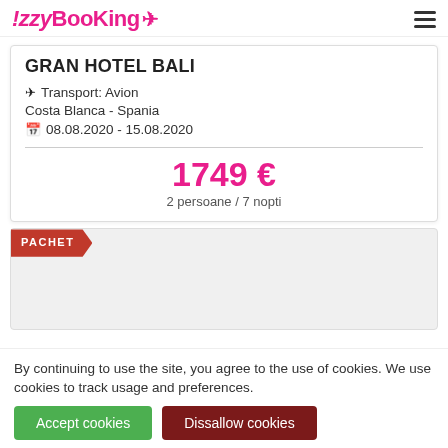!zzyBooKing (logo with plane icon) and hamburger menu
GRAN HOTEL BALI
✈ Transport: Avion
Costa Blanca - Spania
08.08.2020 - 15.08.2020
1749 €
2 persoane / 7 nopti
PACHET
By continuing to use the site, you agree to the use of cookies. We use cookies to track usage and preferences.
Accept cookies | Dissallow cookies